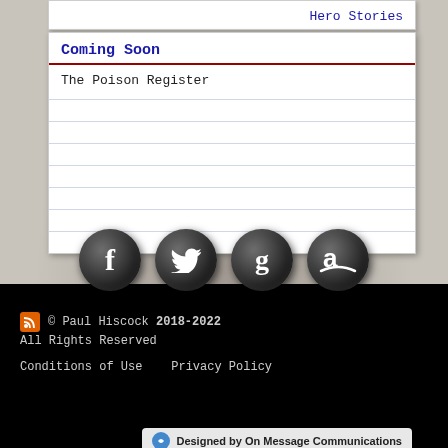Hero Stories
Coming Soon
The Poison Register
[Figure (illustration): Four circular social media icons (Facebook, Twitter, Goodreads, Amazon) with dark textured backgrounds on torn paper background]
© Paul Hiscock 2018-2022
All Rights Reserved
Conditions of Use   Privacy Policy
Designed by On Message Communications